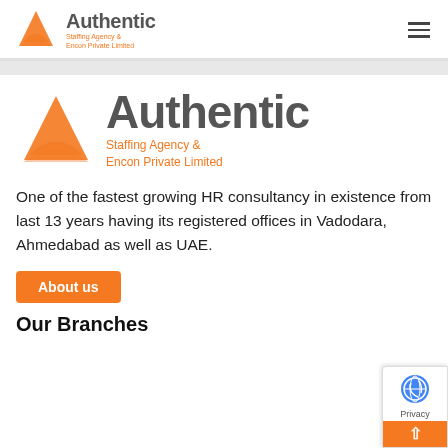[Figure (logo): Authentic Staffing Agency & Encon Private Limited logo in header navigation bar, small size]
[Figure (logo): Authentic Staffing Agency & Encon Private Limited logo, large size, center of page]
One of the fastest growing HR consultancy in existence from last 13 years having its registered offices in Vadodara, Ahmedabad as well as UAE.
About us
Our Branches